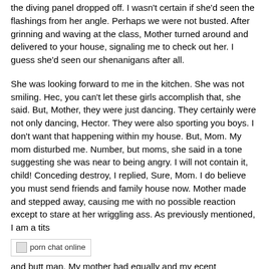the diving panel dropped off. I wasn't certain if she'd seen the flashings from her angle. Perhaps we were not busted. After grinning and waving at the class, Mother turned around and delivered to your house, signaling me to check out her. I guess she'd seen our shenanigans after all.
She was looking forward to me in the kitchen. She was not smiling. Hec, you can't let these girls accomplish that, she said. But, Mother, they were just dancing. They certainly were not only dancing, Hector. They were also sporting you boys. I don't want that happening within my house. But, Mom. My mom disturbed me. Number, but moms, she said in a tone suggesting she was near to being angry. I will not contain it, child! Conceding destroy, I replied, Sure, Mom. I do believe you must send friends and family house now. Mother made and stepped away, causing me with no possible reaction except to stare at her wriggling ass. As previously mentioned, I am a tits
[Figure (other): Broken image placeholder with text 'porn chat online']
and butt man. My mother had equally and my ecent